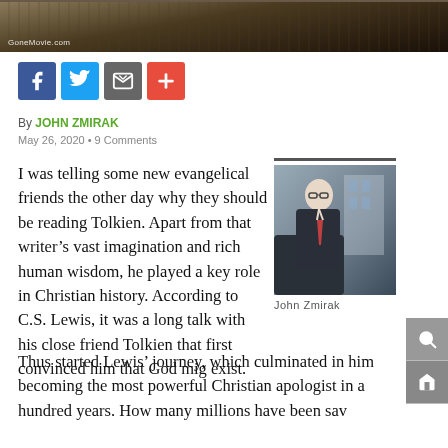[Figure (photo): Dark banner image at top of article page, appears to show foliage or feathers in low light. GoneMovie.com watermark visible.]
[Figure (infographic): Social media share buttons row: Facebook (blue), Twitter (blue), Email/share (dark gray), Plus/more (red-orange)]
By JOHN ZMIRAK
May 26, 2020 • 9 Comments
[Figure (photo): Photo of John Zmirak, a man in a suit and glasses, shown outdoors near a vehicle.]
John Zmirak
I was telling some new evangelical friends the other day why they should be reading Tolkien. Apart from that writer's vast imagination and rich human wisdom, he played a key role in Christian history. According to C.S. Lewis, it was a long talk with his close friend Tolkien that first convinced him that God mig exist.
Thus started Lewis' journey, which culminated in him becoming the most powerful Christian apologist in a hundred years. How many millions have been sav...